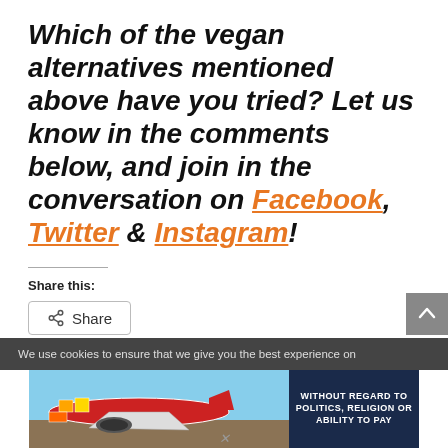Which of the vegan alternatives mentioned above have you tried? Let us know in the comments below, and join in the conversation on Facebook, Twitter & Instagram!
Share this:
[Figure (screenshot): Share button with share icon]
[Figure (screenshot): Cookie notice bar and advertisement banner showing cargo airplane loading with text WITHOUT REGARD TO POLITICS, RELIGION OR ABILITY TO PAY]